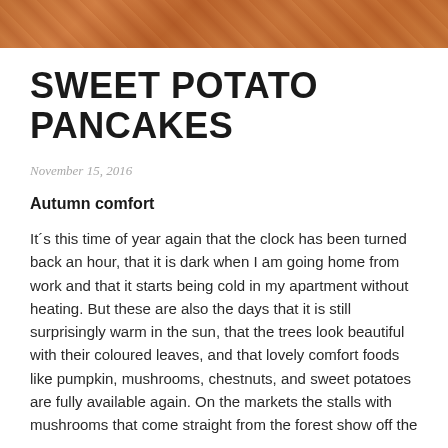[Figure (photo): Close-up photo of sweet potato pancakes with golden-brown color, shown as a cropped strip at the top of the page]
SWEET POTATO PANCAKES
November 15, 2016
Autumn comfort
It´s this time of year again that the clock has been turned back an hour, that it is dark when I am going home from work and that it starts being cold in my apartment without heating. But these are also the days that it is still surprisingly warm in the sun, that the trees look beautiful with their coloured leaves, and that lovely comfort foods like pumpkin, mushrooms, chestnuts, and sweet potatoes are fully available again. On the markets the stalls with mushrooms that come straight from the forest show off the